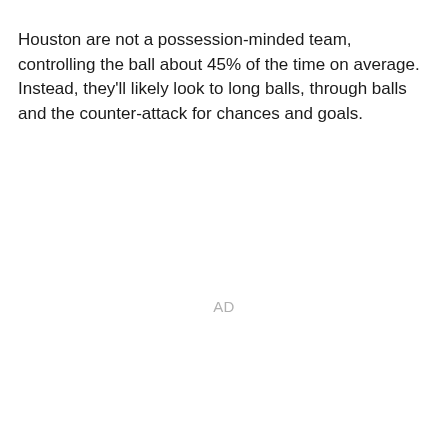Houston are not a possession-minded team, controlling the ball about 45% of the time on average. Instead, they'll likely look to long balls, through balls and the counter-attack for chances and goals.
AD